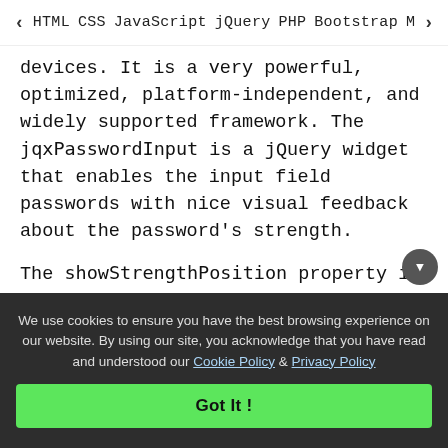< HTML   CSS   JavaScript   jQuery   PHP   Bootstrap   M>
devices. It is a very powerful, optimized, platform-independent, and widely supported framework. The jqxPasswordInput is a jQuery widget that enables the input field passwords with nice visual feedback about the password's strength.
The showStrengthPosition property is used to set or return the position of the tooltip element that displays the password strength. It accepts String type value and its default value is "right".
Its possible values are –
We use cookies to ensure you have the best browsing experience on our website. By using our site, you acknowledge that you have read and understood our Cookie Policy & Privacy Policy
Got It !